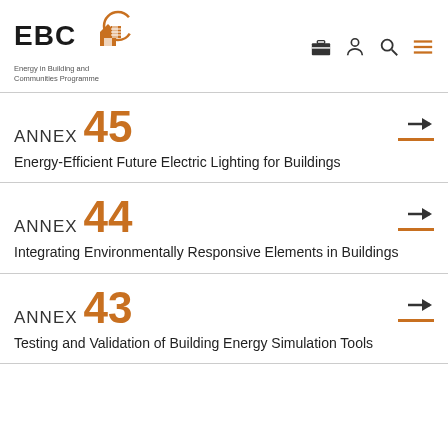[Figure (logo): EBC Energy in Building and Communities Programme logo with orange house and grid icon]
ANNEX 45
Energy-Efficient Future Electric Lighting for Buildings
ANNEX 44
Integrating Environmentally Responsive Elements in Buildings
ANNEX 43
Testing and Validation of Building Energy Simulation Tools